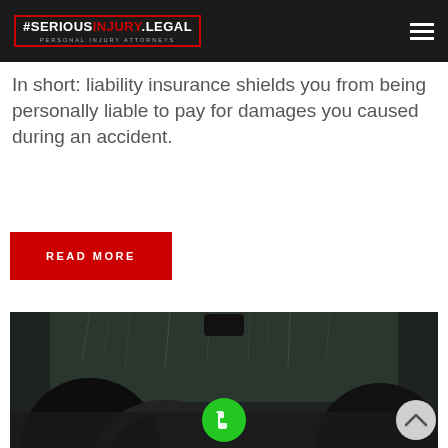#SERIOUSINJURY.LEGAL PERSONAL INJURY ATTORNEYS
In short: liability insurance shields you from being personally liable to pay for damages you caused during an accident.
READ MORE
[Figure (photo): Interior view from inside a car, looking through a rain-covered windshield. A green phone call button and a scroll-to-top button are overlaid.]